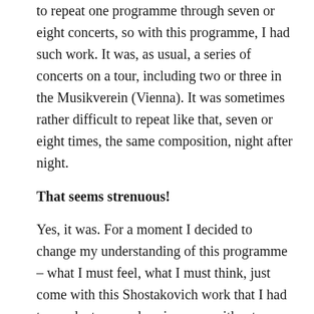to repeat one programme through seven or eight concerts, so with this programme, I had such work. It was, as usual, a series of concerts on a tour, including two or three in the Musikverein (Vienna). It was sometimes rather difficult to repeat like that, seven or eight times, the same composition, night after night.
That seems strenuous!
Yes, it was. For a moment I decided to change my understanding of this programme – what I must feel, what I must think, just come with this Shostakovich work that I had to conduct seven days in a row without pause. This symphony, as with almost all of them, needed very high tension, and after seven concerts I felt myself… well, the best thing was to go fishing…